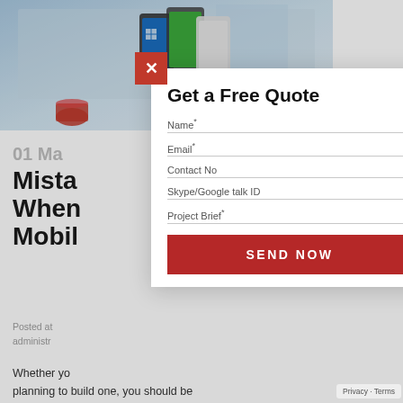[Figure (screenshot): Background blog page showing mobile devices image at top, partially visible article title about mistakes when building mobile apps, blog metadata and beginning of article text]
Get a Free Quote
Name*
Email*
Contact No
Skype/Google talk ID
Project Brief*
SEND NOW